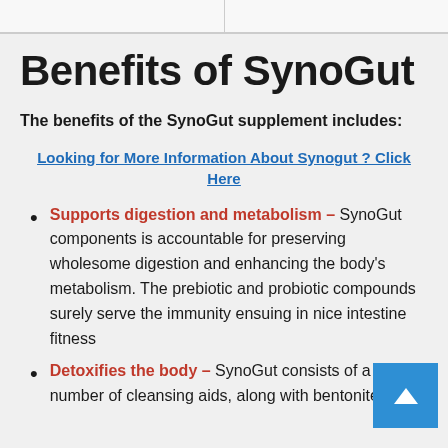Benefits of SynoGut
The benefits of the SynoGut supplement includes:
Looking for More Information About Synogut ? Click Here
Supports digestion and metabolism – SynoGut components is accountable for preserving wholesome digestion and enhancing the body's metabolism. The prebiotic and probiotic compounds surely serve the immunity ensuing in nice intestine fitness
Detoxifies the body – SynoGut consists of a number of cleansing aids, along with bentonite